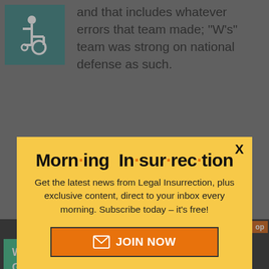[Figure (illustration): Wheelchair accessibility icon on teal background]
and that includes whatever errors that team made; “W’s” team was strong on national defense as such.
[Figure (infographic): Morning Insurrection modal popup with yellow background, title 'Morn·ing In·sur·rec·tion', subscription call to action text, and orange JOIN NOW button]
“W” is not a fiscal conservative...
[Figure (infographic): Fiverr advertisement banner: Working from home? Get your projects done on fiverr]
and IFB: Yanks but of a soft-